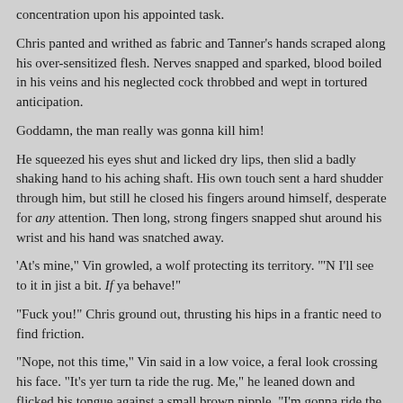concentration upon his appointed task.
Chris panted and writhed as fabric and Tanner's hands scraped along his over-sensitized flesh. Nerves snapped and sparked, blood boiled in his veins and his neglected cock throbbed and wept in tortured anticipation.
Goddamn, the man really was gonna kill him!
He squeezed his eyes shut and licked dry lips, then slid a badly shaking hand to his aching shaft. His own touch sent a hard shudder through him, but still he closed his fingers around himself, desperate for any attention. Then long, strong fingers snapped shut around his wrist and his hand was snatched away.
'At's mine," Vin growled, a wolf protecting its territory. "'N I'll see to it in jist a bit. If ya behave!"
"Fuck you!" Chris ground out, thrusting his hips in a frantic need to find friction.
"Nope, not this time," Vin said in a low voice, a feral look crossing his face. "It's yer turn ta ride the rug. Me," he leaned down and flicked his tongue against a small brown nipple, "I'm gonna ride the cowboy."